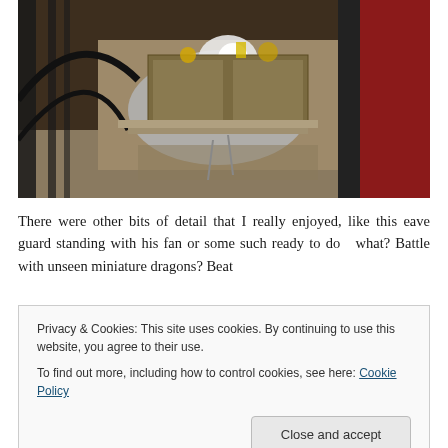[Figure (photo): Interior of an ornate Asian temple or shrine showing a decorative silver/metallic dragon or creature statue behind iron bars/gates, with an altar and golden statue visible in the background, red lacquered walls and columns.]
There were other bits of detail that I really enjoyed, like this eave guard standing with his fan or some such ready to do... what? Battle with unseen miniature dragons? Beat
Privacy & Cookies: This site uses cookies. By continuing to use this website, you agree to their use.
To find out more, including how to control cookies, see here: Cookie Policy